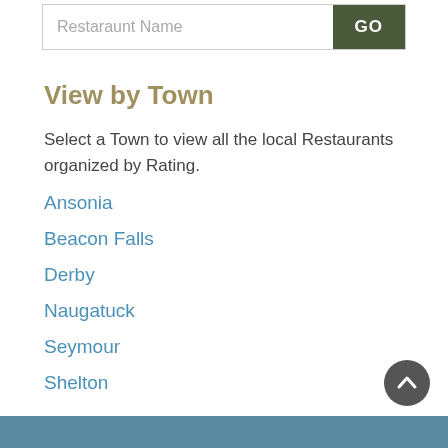Restaraunt Name
View by Town
Select a Town to view all the local Restaurants organized by Rating.
Ansonia
Beacon Falls
Derby
Naugatuck
Seymour
Shelton